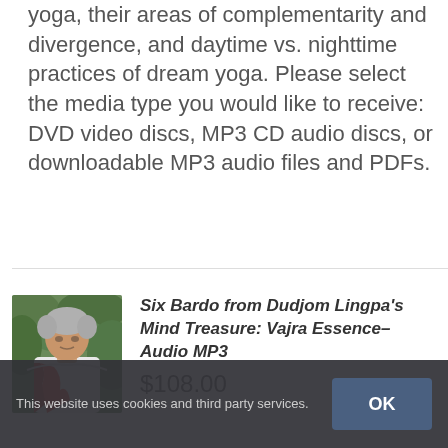yoga, their areas of complementarity and divergence, and daytime vs. nighttime practices of dream yoga. Please select the media type you would like to receive: DVD video discs, MP3 CD audio discs, or downloadable MP3 audio files and PDFs.
[Figure (photo): Photo of an older man with grey hair wearing a white shirt and red sash/shawl, looking downward, with green foliage in background]
Six Bardo from Dudjom Lingpa's Mind Treasure: Vajra Essence– Audio MP3
$108.00
This website uses cookies and third party services.